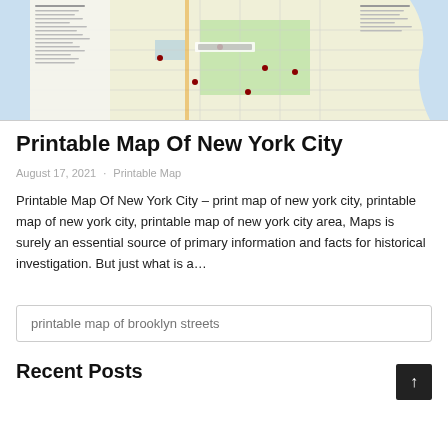[Figure (map): A printable map of New York City showing Manhattan and surrounding areas with labeled streets, landmarks, and a legend on the left side.]
Printable Map Of New York City
August 17, 2021 · Printable Map
Printable Map Of New York City – print map of new york city, printable map of new york city, printable map of new york city area, Maps is surely an essential source of primary information and facts for historical investigation. But just what is a...
printable map of brooklyn streets
Recent Posts